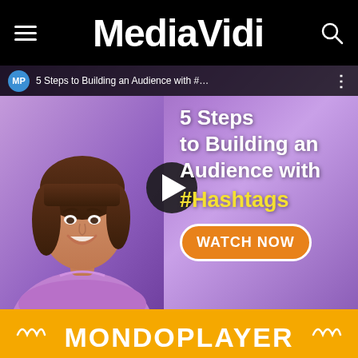MediaVidi
[Figure (screenshot): YouTube-style video thumbnail showing a woman smiling in a purple top on a purple gradient background. Text overlay reads '5 Steps to Building an Audience with #Hashtags' with a WATCH NOW button. Video title bar at top shows 'MP 5 Steps to Building an Audience with #...' A play button circle is centered on the image.]
MONDOPLAYER